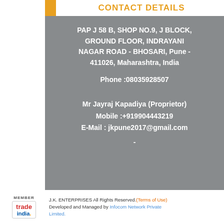CONTACT DETAILS
PAP J 58 B, SHOP NO.9, J BLOCK, GROUND FLOOR, INDRAYANI NAGAR ROAD - BHOSARI, Pune - 411026, Maharashtra, India
Phone :08035928507
Mr Jayraj Kapadiya (Proprietor)
Mobile :+919904443219
E-Mail : jkpune2017@gmail.com
-
J.K. ENTERPRISES All Rights Reserved.(Terms of Use) Developed and Managed by Infocom Network Private Limited.